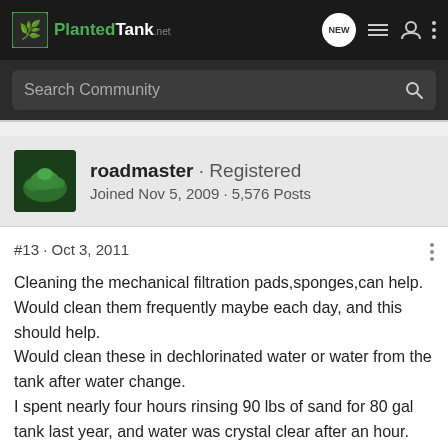[Figure (screenshot): PlantedTank.net forum navigation bar with logo, NEW bubble, list icon, user icon, and dots menu]
[Figure (screenshot): Search Community input bar with magnifying glass icon]
roadmaster · Registered
Joined Nov 5, 2009 · 5,576 Posts
#13 · Oct 3, 2011
Cleaning the mechanical filtration pads,sponges,can help. Would clean them frequently maybe each day, and this should help.
Would clean these in dechlorinated water or water from the tank after water change.
I spent nearly four hours rinsing 90 lbs of sand for 80 gal tank last year, and water was crystal clear after an hour.
rinhse ,rinse,rinse some more.